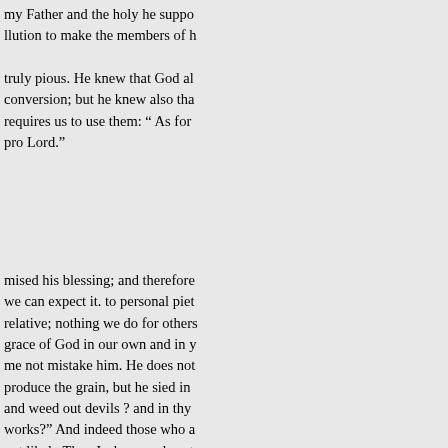my Father and the holy he suppo llution to make the members of h truly pious. He knew that God al conversion; but he knew also tha requires us to use them: " As for pro Lord."
mised his blessing; and therefore we can expect it. to personal piet relative; nothing we do for others grace of God in our own and in y me not mistake him. He does not produce the grain, but he sied in and weed out devils ? and in thy works?" And indeed those who a not likely Thus Joshua resolves t zealous use of all proper means t governs truly religious. carry you encoulike a personal experience o Unless you serve God your-ple o transient, partial, in their bosoms vourable opportunity, improve ev impress the mind with seriousof promising apmiserable recomme